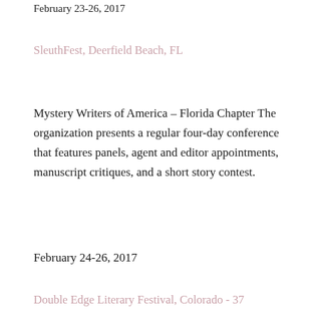February 23-26, 2017
SleuthFest, Deerfield Beach, FL
Mystery Writers of America – Florida Chapter The organization presents a regular four-day conference that features panels, agent and editor appointments, manuscript critiques, and a short story contest.
February 24-26, 2017
Double Edge Literary Festival, Colorado - 37